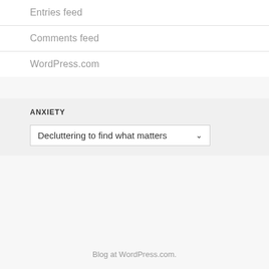Entries feed
Comments feed
WordPress.com
ANXIETY
Decluttering to find what matters
Blog at WordPress.com.